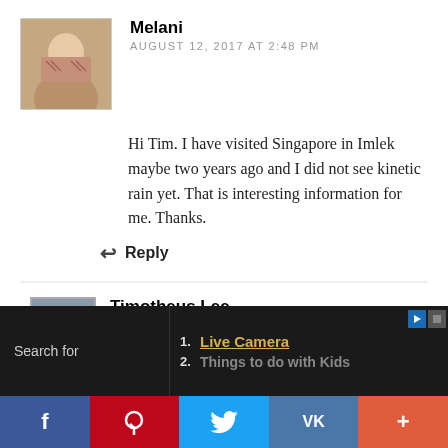[Figure (photo): Profile photo of Melani, a woman in patterned clothing]
Melani
AUGUST 12, 2017 AT 2:48 PM
Hi Tim. I have visited Singapore in Imlek maybe two years ago and I did not see kinetic rain yet. That is interesting information for me. Thanks.
Reply
[Figure (photo): Profile photo of Timotheus Lee, a man]
Timotheus Lee
AUGUST 13, 2017 AT 11:59 AM
Search for
1. Live Camera
2. Things to do with Kids